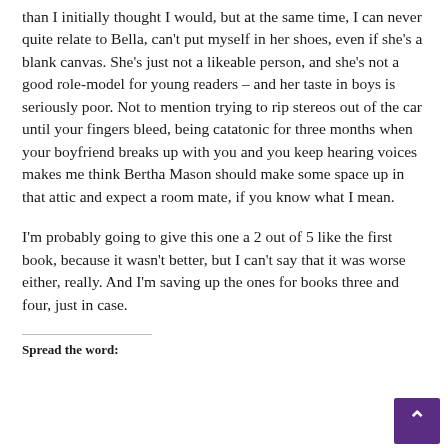than I initially thought I would, but at the same time, I can never quite relate to Bella, can't put myself in her shoes, even if she's a blank canvas. She's just not a likeable person, and she's not a good role-model for young readers – and her taste in boys is seriously poor. Not to mention trying to rip stereos out of the car until your fingers bleed, being catatonic for three months when your boyfriend breaks up with you and you keep hearing voices makes me think Bertha Mason should make some space up in that attic and expect a room mate, if you know what I mean.
I'm probably going to give this one a 2 out of 5 like the first book, because it wasn't better, but I can't say that it was worse either, really. And I'm saving up the ones for books three and four, just in case.
Spread the word: